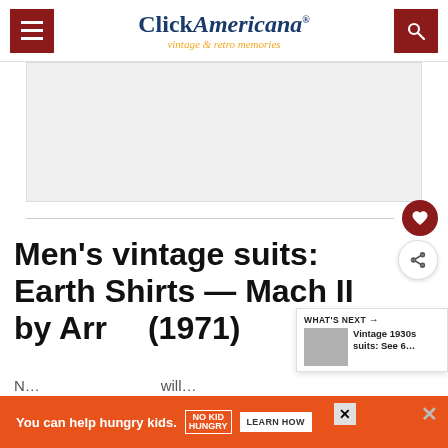Click Americana — vintage & retro memories
[Figure (other): Advertisement placeholder banner (gray box)]
Men's vintage suits: Earth Shirts — Mach II by Arr… (1971)
WHAT'S NEXT → Vintage 1930s suits: See 6…
You can help hungry kids. NO KID HUNGRY LEARN HOW
N… will…